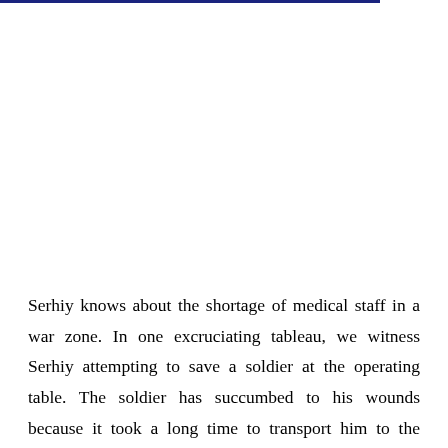Serhiy knows about the shortage of medical staff in a war zone. In one excruciating tableau, we witness Serhiy attempting to save a soldier at the operating table. The soldier has succumbed to his wounds because it took a long time to transport him to the hospital. But what pushes him to